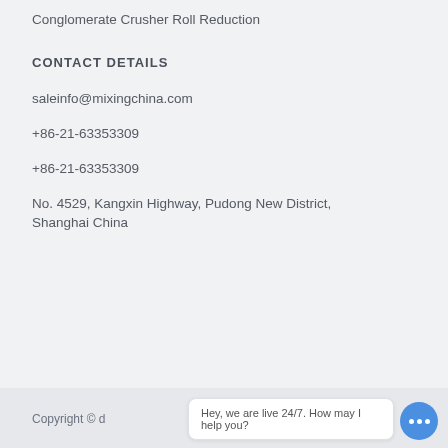Conglomerate Crusher Roll Reduction
CONTACT DETAILS
saleinfo@mixingchina.com
+86-21-63353309
+86-21-63353309
No. 4529, Kangxin Highway, Pudong New District, Shanghai China
Copyright © d
Hey, we are live 24/7. How may I help you?